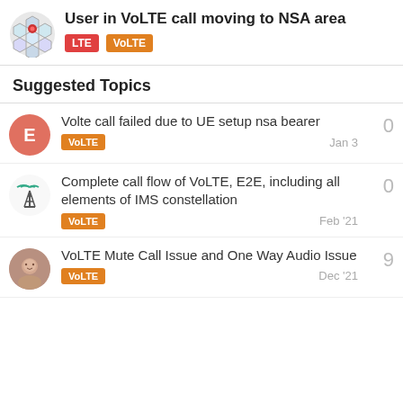User in VoLTE call moving to NSA area
Suggested Topics
Volte call failed due to UE setup nsa bearer
VoLTE
Jan 3
0
Complete call flow of VoLTE, E2E, including all elements of IMS constellation
VoLTE
Feb '21
0
VoLTE Mute Call Issue and One Way Audio Issue
VoLTE
Dec '21
9